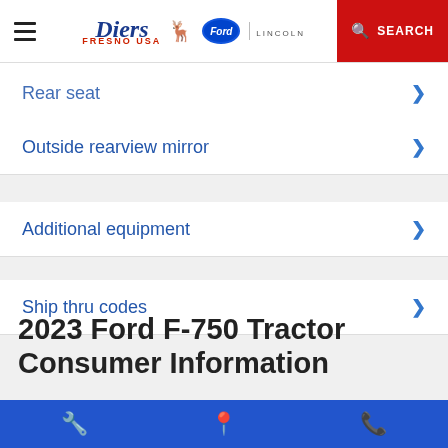Diers Ford Lincoln — Search
Rear seat
Outside rearview mirror
Additional equipment
Ship thru codes
2023 Ford F-750 Tractor Consumer Information
Service | Location | Phone